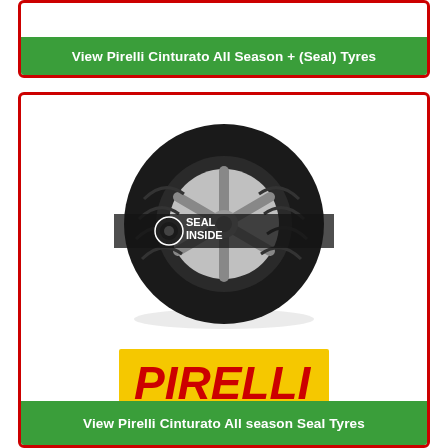View Pirelli Cinturato All Season + (Seal) Tyres
[Figure (photo): Pirelli Cinturato All season Seal tyre product image with 'Seal Inside' badge across the centre, showing tread pattern and alloy wheel. Below the tyre is a yellow Pirelli logo banner.]
Cinturato All season Seal
View Pirelli Cinturato All season Seal Tyres